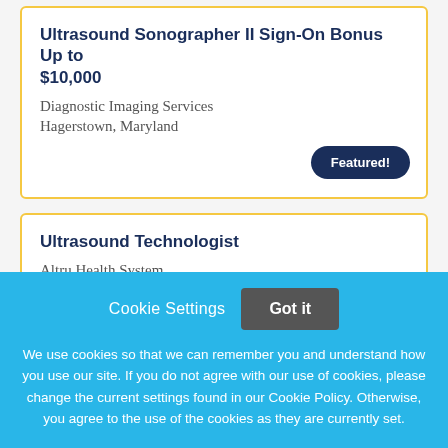Ultrasound Sonographer II Sign-On Bonus Up to $10,000
Diagnostic Imaging Services
Hagerstown, Maryland
Featured!
Ultrasound Technologist
Altru Health System
Grand Forks, North Dakota
Cookie Settings
Got it
We use cookies so that we can remember you and understand how you use our site. If you do not agree with our use of cookies, please change the current settings found in our Cookie Policy. Otherwise, you agree to the use of the cookies as they are currently set.